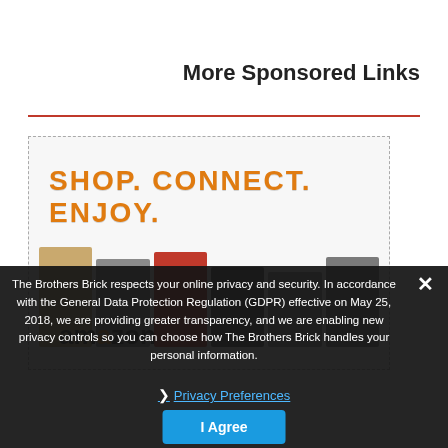More Sponsored Links
[Figure (screenshot): Amazon advertisement banner with text 'SHOP. CONNECT. ENJOY.' in orange, showing various product images including handbag, kitchen appliances, electronics, and a group photo, with Amazon logo at the bottom.]
The Brothers Brick respects your online privacy and security. In accordance with the General Data Protection Regulation (GDPR) effective on May 25, 2018, we are providing greater transparency, and we are enabling new privacy controls so you can choose how The Brothers Brick handles your personal information.
❯ Privacy Preferences
I Agree